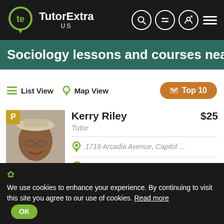TutorExtra US
Sociology lessons and courses nea...
List View  Map View  Top 10
Kerry Riley  $25
Tutor
1719 Arcadia Avenue, Capitol ...
https://tutorextra.com/pr...
Send Message
I am an award winning Professor of Humanities, Social Science, and Liberal Arts for 30 years at university and college includi...
✿ We use cookies to enhance your experience. By continuing to visit this site you agree to our use of cookies.  Read more  OK